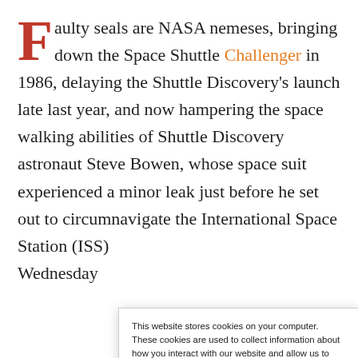Faulty seals are NASA nemeses, bringing down the Space Shuttle Challenger in 1986, delaying the Shuttle Discovery's launch late last year, and now hampering the space walking abilities of Shuttle Discovery astronaut Steve Bowen, whose space suit experienced a minor leak just before he set out to circumnavigate the International Space Station (ISS) Wednesday
This website stores cookies on your computer. These cookies are used to collect information about how you interact with our website and allow us to remember you. We use this information in order to improve and customize your browsing experience and for analytics and metrics about our visitors both on this website and other media. To find out more about the cookies we use, see our Privacy Policy. California residents have the right to direct us not to sell their personal information to third parties by filing an Opt-Out Request: Do Not Sell My Personal Info.
Accept